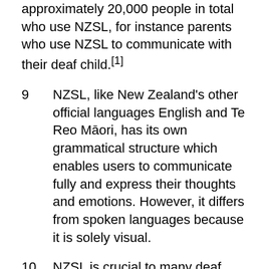approximately 20,000 people in total who use NZSL, for instance parents who use NZSL to communicate with their deaf child.[1]
9        NZSL, like New Zealand's other official languages English and Te Reo Māori, has its own grammatical structure which enables users to communicate fully and express their thoughts and emotions. However, it differs from spoken languages because it is solely visual.
10      NZSL is crucial to many deaf people's ability to learn, communicate and participate in society. The language is vital to the expression of deaf culture and identity. Deaf culture is well documented and includes shared values, norms, behaviours, history, humour, art, stories, poetry and traditions of deaf people. Deaf culture is passed on from generation to generation through sign language.